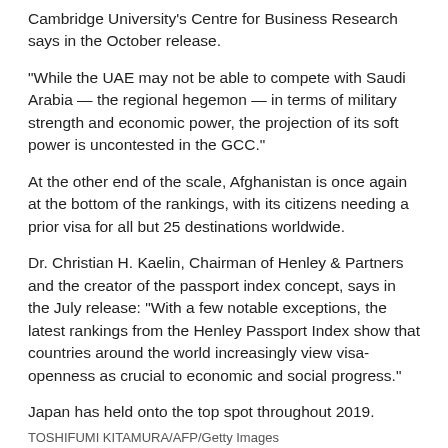Cambridge University's Centre for Business Research says in the October release.
"While the UAE may not be able to compete with Saudi Arabia — the regional hegemon — in terms of military strength and economic power, the projection of its soft power is uncontested in the GCC."
At the other end of the scale, Afghanistan is once again at the bottom of the rankings, with its citizens needing a prior visa for all but 25 destinations worldwide.
Dr. Christian H. Kaelin, Chairman of Henley & Partners and the creator of the passport index concept, says in the July release: "With a few notable exceptions, the latest rankings from the Henley Passport Index show that countries around the world increasingly view visa-openness as crucial to economic and social progress."
Japan has held onto the top spot throughout 2019.
TOSHIFUMI KITAMURA/AFP/Getty Images
The best passports to hold in 2019